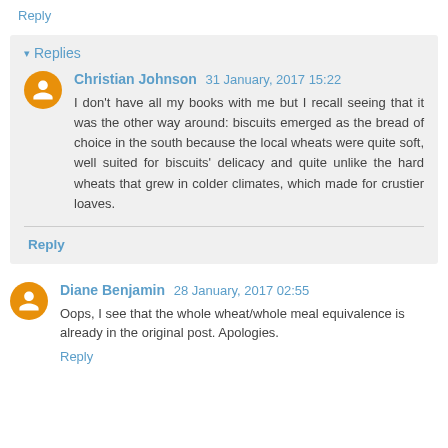Reply
▾ Replies
Christian Johnson 31 January, 2017 15:22
I don't have all my books with me but I recall seeing that it was the other way around: biscuits emerged as the bread of choice in the south because the local wheats were quite soft, well suited for biscuits' delicacy and quite unlike the hard wheats that grew in colder climates, which made for crustier loaves.
Reply
Diane Benjamin 28 January, 2017 02:55
Oops, I see that the whole wheat/whole meal equivalence is already in the original post. Apologies.
Reply